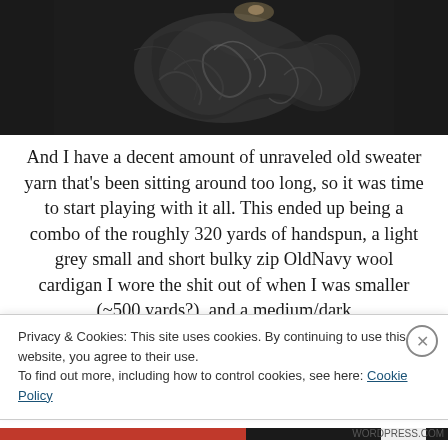[Figure (photo): Close-up photograph of dark grey knitted yarn texture, showing loops and strands of wool in a dark background]
And I have a decent amount of unraveled old sweater yarn that's been sitting around too long, so it was time to start playing with it all. This ended up being a combo of the roughly 320 yards of handspun, a light grey small and short bulky zip OldNavy wool cardigan I wore the shit out of when I was smaller (~500 yards?), and a medium/dark
Privacy & Cookies: This site uses cookies. By continuing to use this website, you agree to their use.
To find out more, including how to control cookies, see here: Cookie Policy
Close and accept